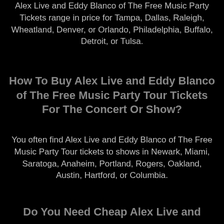Alex Live and Eddy Blanco of The Free Music Party Tickets range in price for Tampa, Dallas, Raleigh, Wheatland, Denver, or Orlando, Philadelphia, Buffalo, Detroit, or Tulsa.
How To Buy Alex Live and Eddy Blanco of The Free Music Party Tour Tickets For The Concert Or Show?
You often find Alex Live and Eddy Blanco of The Free Music Party Tour tickets to shows in Newark, Miami, Saratoga, Anaheim, Portland, Rogers, Oakland, Austin, Hartford, or Columbia.
Do You Need Cheap Alex Live and